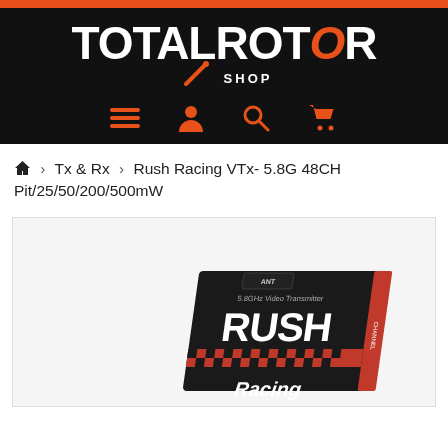[Figure (logo): TotalRotor Shop logo — white bold text on black background with orange slash/propeller graphic and SHOP text]
[Figure (infographic): Navigation icons: hamburger menu, user account, search, shopping cart — all in orange on black background]
🏠 › Tx & Rx › Rush Racing VTx- 5.8G 48CH Pit/25/50/200/500mW
[Figure (photo): Product photo of Rush Racing 5.8GHz Video Transmitter VTx module — black PCB with red/orange RUSH Racing branding and checkerboard pattern, angled view showing ANT label on top]